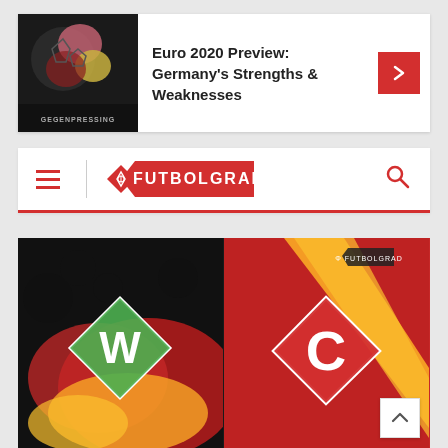[Figure (screenshot): Website screenshot showing Futbolgrad football news site. Top area has a promotional banner for 'Euro 2020 Preview: Germany's Strengths & Weaknesses' with Gegenpressing podcast logo image on left and a red arrow button on right. Below is a navigation bar with hamburger menu icon, Futbolgrad logo in red diamond shape, and search icon. Main content area shows two football club logos side by side: Werder Bremen logo (green diamond with W) on dark German flag background (black/red/yellow), and Spartak Moscow logo (red diamond with C) on red background with yellow diagonal stripe, with Futbolgrad watermark.]